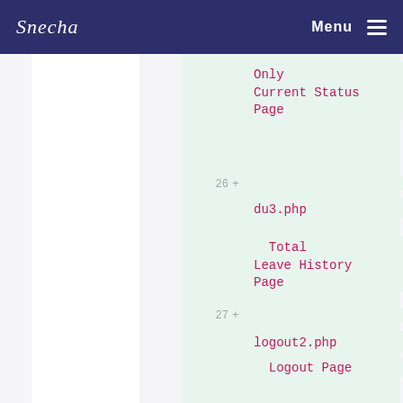Snecha  Menu
Only Current Status Page
26 +
du3.php
Total Leave History Page
27 +
logout2.php
Logout Page
28 +
grev2.php